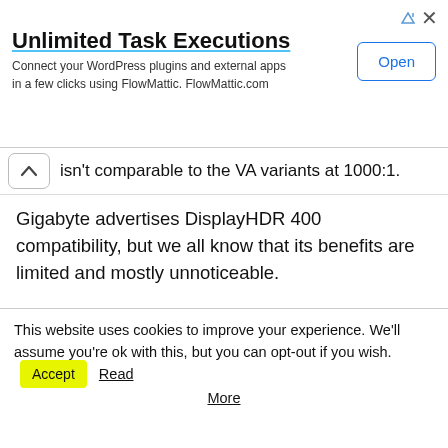[Figure (screenshot): Advertisement banner: 'Unlimited Task Executions' with subtitle 'Connect your WordPress plugins and external apps in a few clicks using FlowMattic. FlowMattic.com' and an 'Open' button on the right. Ad attribution icons in top right.]
isn't comparable to the VA variants at 1000:1.
Gigabyte advertises DisplayHDR 400 compatibility, but we all know that its benefits are limited and mostly unnoticeable.
1440p in a 27-inch screen and its resulting pixel density is great for all-around use since it is the sweet spot for visibility and sharpness. Games will look noticeably crisper and cleaner, but users won't struggle with other
This website uses cookies to improve your experience. We'll assume you're ok with this, but you can opt-out if you wish. Accept Read More